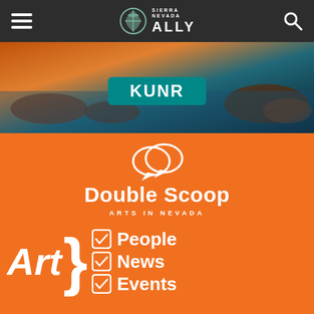Sierra Nevada Ally
[Figure (photo): Scenic landscape photo of Lake Tahoe with rocks and warm sunset/water reflection colors, with a KUNR teal badge overlay in the center]
[Figure (logo): Double Scoop Arts in Nevada logo on orange background with speech bubble icons above the text, followed by Art with curly brace and checklist: People, News, Events]